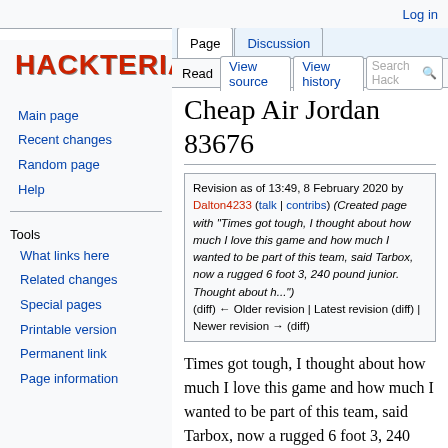Log in
[Figure (logo): Hackteria wiki logo in red stylized text]
Main page
Recent changes
Random page
Help
Tools
What links here
Related changes
Special pages
Printable version
Permanent link
Page information
Cheap Air Jordan 83676
Revision as of 13:49, 8 February 2020 by Dalton4233 (talk | contribs) (Created page with "Times got tough, I thought about how much I love this game and how much I wanted to be part of this team, said Tarbox, now a rugged 6 foot 3, 240 pound junior. Thought about h...") (diff) ← Older revision | Latest revision (diff) | Newer revision → (diff)
Times got tough, I thought about how much I love this game and how much I wanted to be part of this team, said Tarbox, now a rugged 6 foot 3, 240 pound junior. Thought about how badly I wanted to help out, to get wins. Being